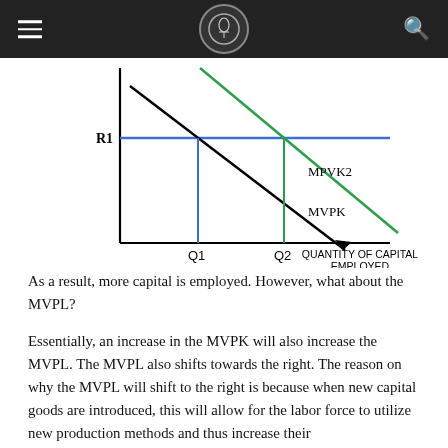[Figure (continuous-plot): Economics diagram showing two downward-sloping curves (MVPK in black and MPVK2 in green) and a horizontal blue line at R1. Vertical lines at Q1 and Q2 show equilibrium quantities. X-axis labeled QUANTITY OF CAPITAL EMPLOYED. The green curve MPVK2 is to the right of MVPK, showing a rightward shift.]
As a result, more capital is employed. However, what about the MVPL?
Essentially, an increase in the MVPK will also increase the MVPL. The MVPL also shifts towards the right. The reason on why the MVPL will shift to the right is because when new capital goods are introduced, this will allow for the labor force to utilize new production methods and thus increase their